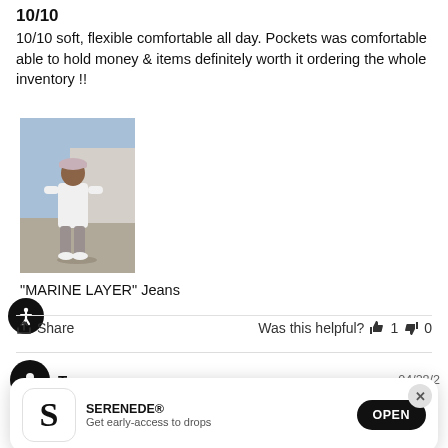10/10
10/10 soft, flexible comfortable all day. Pockets was comfortable able to hold money & items definitely worth it ordering the whole inventory !!
[Figure (photo): Person wearing white long sleeve shirt and light pants with white shoes, standing outdoors on a sunny day]
"MARINE LAYER" Jeans
Share   Was this helpful? 👍 1  👎 0
Tae   04/28/22
[Figure (other): App install banner showing SERENEDE app icon with S logo, text 'SERENEDE® Get early-access to drops' and an OPEN button]
Restock size 30!!!